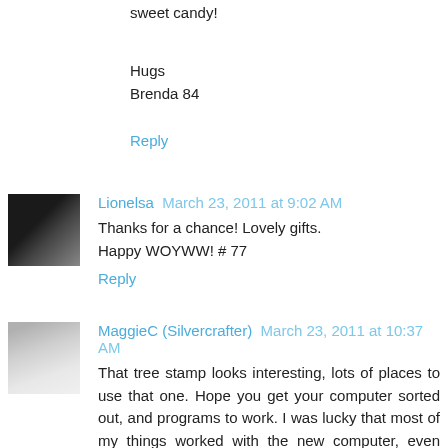sweet candy!
Hugs
Brenda 84
Reply
Lionelsa  March 23, 2011 at 9:02 AM
Thanks for a chance! Lovely gifts.
Happy WOYWW! # 77
Reply
MaggieC (Silvercrafter)  March 23, 2011 at 10:37 AM
That tree stamp looks interesting, lots of places to use that one. Hope you get your computer sorted out, and programs to work. I was lucky that most of my things worked with the new computer, even some things that said they were not compatible with Windows 7 worked well.
Reply